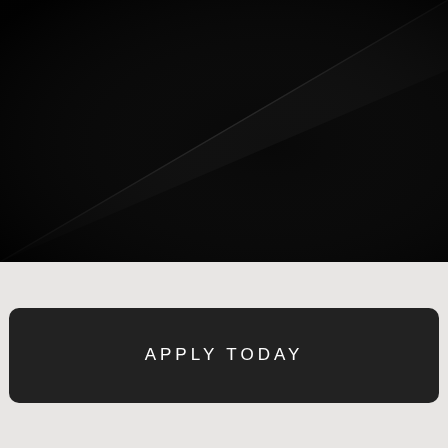[Figure (photo): Dark/black photograph showing a diagonal line or edge running from lower-left to upper-right against a very dark background, possibly a close-up of a dark surface or object.]
APPLY TODAY